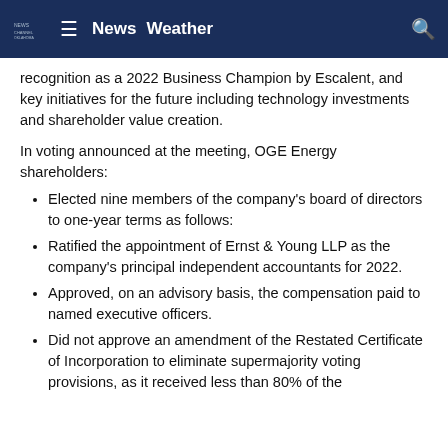News  Weather
recognition as a 2022 Business Champion by Escalent, and key initiatives for the future including technology investments and shareholder value creation.
In voting announced at the meeting, OGE Energy shareholders:
Elected nine members of the company's board of directors to one-year terms as follows:
Ratified the appointment of Ernst & Young LLP as the company's principal independent accountants for 2022.
Approved, on an advisory basis, the compensation paid to named executive officers.
Did not approve an amendment of the Restated Certificate of Incorporation to eliminate supermajority voting provisions, as it received less than 80% of the